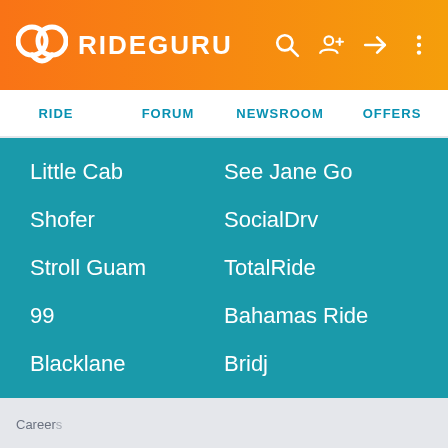RIDEGURU
RIDE | FORUM | NEWSROOM | OFFERS
Little Cab
See Jane Go
Shofer
SocialDrv
Stroll Guam
TotalRide
99
Bahamas Ride
Blacklane
Bridj
Careers
Photo Products Available At CVS. Quality Guaranteed.